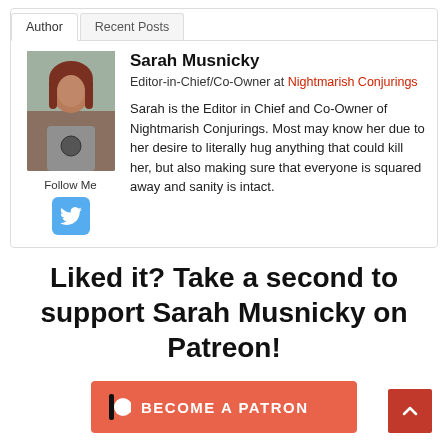[Figure (screenshot): Author bio box with tabs 'Author' and 'Recent Posts', photo of Sarah Musnicky, Twitter follow button, name, role, and bio text]
Liked it? Take a second to support Sarah Musnicky on Patreon!
[Figure (other): Become a Patron button in orange-red with Patreon logo icon, and a red back-to-top arrow button]